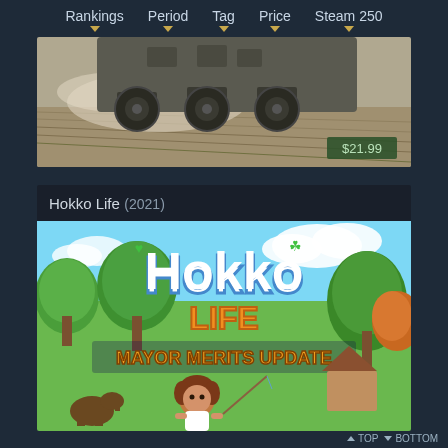Rankings  Period  Tag  Price  Steam 250
[Figure (screenshot): Farming/truck game screenshot with $21.99 price badge]
Hokko Life (2021)
[Figure (screenshot): Hokko Life Mayor Merits Update game art showing colorful village scene with character]
▲ TOP  ▼ BOTTOM